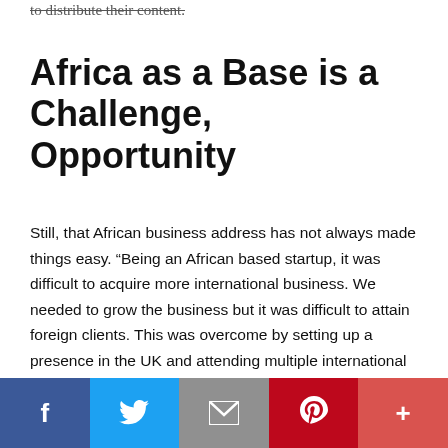to distribute their content.
Africa as a Base is a Challenge, Opportunity
Still, that African business address has not always made things easy. “Being an African based startup, it was difficult to acquire more international business. We needed to grow the business but it was difficult to attain foreign clients. This was overcome by setting up a presence in the UK and attending multiple international events. The more bigger companies saw us the more serious they took us.”
In Africa however, Gardella sees huge potential for growth:
[Figure (other): Social media sharing bar with icons for Facebook, Twitter, Email, Pinterest, and More (+)]